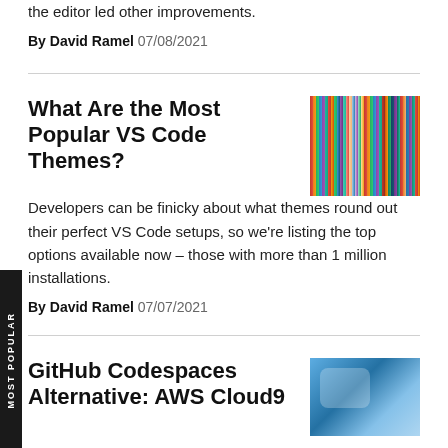the editor led other improvements.
By David Ramel  07/08/2021
What Are the Most Popular VS Code Themes?
[Figure (photo): Colorful striped textile pattern in multiple colors]
Developers can be finicky about what themes round out their perfect VS Code setups, so we're listing the top options available now – those with more than 1 million installations.
By David Ramel  07/07/2021
GitHub Codespaces Alternative: AWS Cloud9
[Figure (photo): Blue cloud computing image]